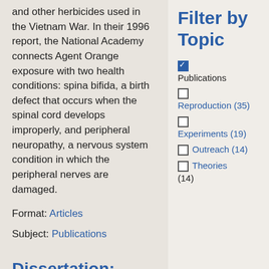and other herbicides used in the Vietnam War. In their 1996 report, the National Academy connects Agent Orange exposure with two health conditions: spina bifida, a birth defect that occurs when the spinal cord develops improperly, and peripheral neuropathy, a nervous system condition in which the peripheral nerves are damaged.
Format: Articles
Subject: Publications
Dissertation:
Filter by Topic
[checked] Publications
Reproduction (35)
Experiments (19)
Outreach (14)
Theories (14)